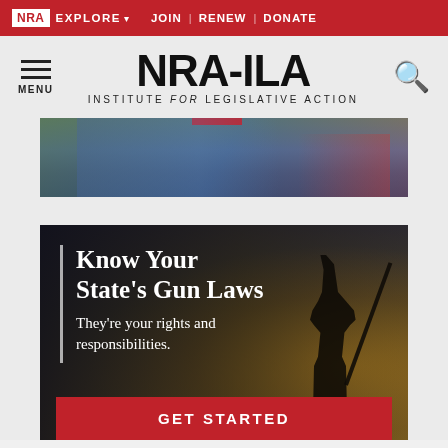NRA EXPLORE ▾  JOIN | RENEW | DONATE
[Figure (logo): NRA-ILA Institute for Legislative Action logo with hamburger menu and search icon]
[Figure (photo): Partial hero banner showing outdoor scene with figures in blue denim and red accents]
[Figure (infographic): Know Your State's Gun Laws banner with silhouette of hunter at sunset, text: Know Your State's Gun Laws. They're your rights and responsibilities. GET STARTED button in red.]